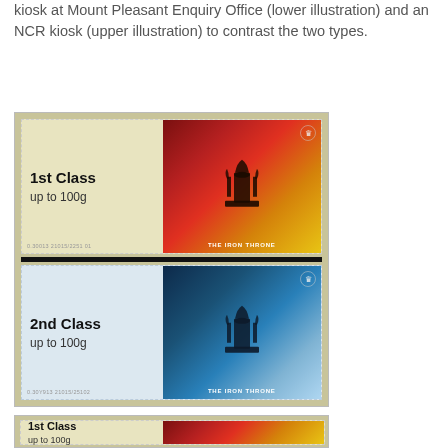kiosk at Mount Pleasant Enquiry Office (lower illustration) and an NCR kiosk (upper illustration) to contrast the two types.
[Figure (photo): Two postal stamps showing 'The Iron Throne' design. Upper stamp: 1st Class up to 100g with red/fiery background. Lower stamp: 2nd Class up to 100g with blue background. Both feature an iron throne silhouette and crown watermark.]
[Figure (photo): Partially visible stamp showing 1st Class up to 100g with red/fiery background iron throne design, cropped at bottom of page.]